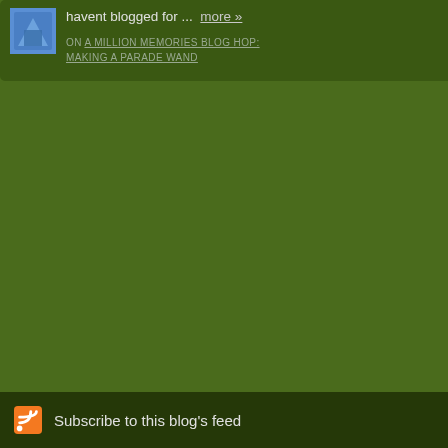[Figure (other): Small avatar/icon image with blue background, partially visible in top-left]
havent blogged for ... more »
ON A MILLION MEMORIES BLOG HOP: MAKING A PARADE WAND
Oh my gosh, R... YOUR work is j... pub! HUGS!!
congrats on the...
The comments to t...
Pr...
March at A Million live and on sale rig... and you can purcha...
Subscribe to this blog's feed